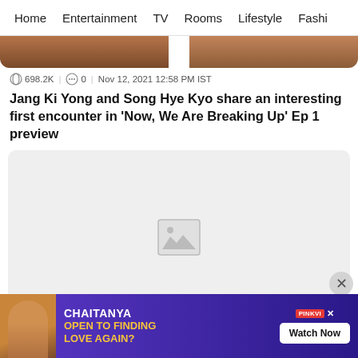Home | Entertainment | TV | Rooms | Lifestyle | Fashi
[Figure (photo): Cropped top of two people's heads/hair visible at top of page]
698.2K | 0 | Nov 12, 2021 12:58 PM IST
Jang Ki Yong and Song Hye Kyo share an interesting first encounter in 'Now, We Are Breaking Up' Ep 1 preview
[Figure (photo): Image placeholder with broken image icon (gray background with mountain/photo icon)]
[Figure (other): Advertisement banner: CHAITANYA OPEN TO FINDING LOVE AGAIN? with Watch Now button and PINKVILLA branding]